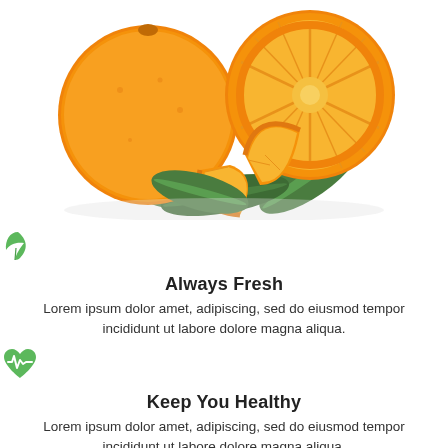[Figure (photo): Fresh oranges — two whole oranges, one halved orange, and two orange slices, arranged with green leaves on a white background.]
[Figure (illustration): Green leaf icon]
Always Fresh
Lorem ipsum dolor amet, adipiscing, sed do eiusmod tempor incididunt ut labore dolore magna aliqua.
[Figure (illustration): Green heart with heartbeat/pulse line icon]
Keep You Healthy
Lorem ipsum dolor amet, adipiscing, sed do eiusmod tempor incididunt ut labore dolore magna aliqua.